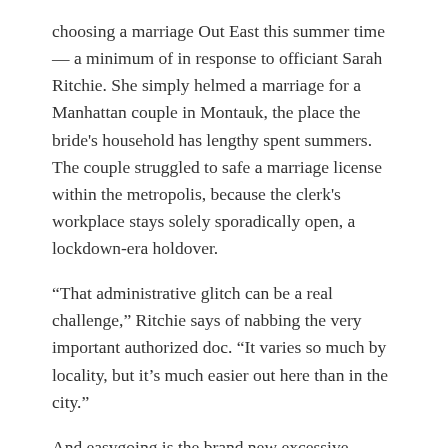choosing a marriage Out East this summer time — a minimum of in response to officiant Sarah Ritchie. She simply helmed a marriage for a Manhattan couple in Montauk, the place the bride's household has lengthy spent summers. The couple struggled to safe a marriage license within the metropolis, because the clerk's workplace stays solely sporadically open, a lockdown-era holdover.
“That administrative glitch can be a real challenge,” Ritchie says of nabbing the very important authorized doc. “It varies so much by locality, but it’s much easier out here than in the city.”
And easygoing is the brand new excessive upkeep on the subject of the fanciest weddings, a vibe shift that Topiaire’s Meaney has skilled firsthand: Floral shows are much less formal, and extra eclectic, with brides a lot much less insistent on an identical preparations for each floor. “They’ve gotten a whole lot more chill after everything that’s happened, which is much more enjoyable to work with,” she laughs. “Everyone has let go a little bit. They’re just so happy they’re having a big